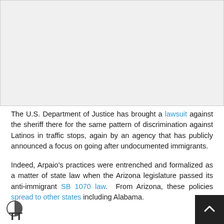[Figure (other): Gray placeholder image area at the top of the page]
The U.S. Department of Justice has brought a lawsuit against the sheriff there for the same pattern of discrimination against Latinos in traffic stops, again by an agency that has publicly announced a focus on going after undocumented immigrants.
Indeed, Arpaio's practices were entrenched and formalized as a matter of state law when the Arizona legislature passed its anti-immigrant SB 1070 law. From Arizona, these policies spread to other states including Alabama.